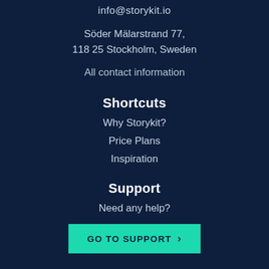info@storykit.io
Söder Mälarstrand 77, 118 25 Stockholm, Sweden
All contact information
Shortcuts
Why Storykit?
Price Plans
Inspiration
Support
Need any help?
GO TO SUPPORT >
Cookie and Privacy policy